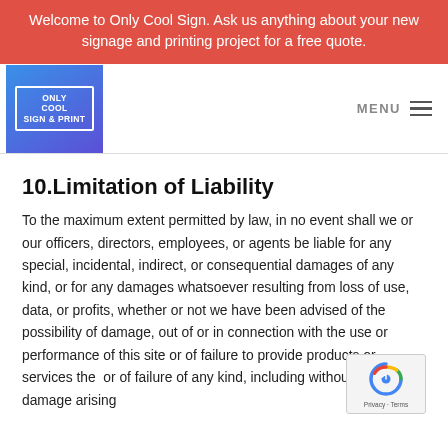Welcome to Only Cool Sign. Ask us anything about your new signage and printing project for a free quote.
[Figure (logo): Only Cool Sign & Print logo — blue to purple gradient square with white text and border graphic]
10.Limitation of Liability
To the maximum extent permitted by law, in no event shall we or our officers, directors, employees, or agents be liable for any special, incidental, indirect, or consequential damages of any kind, or for any damages whatsoever resulting from loss of use, data, or profits, whether or not we have been advised of the possibility of damage, out of or in connection with the use or performance of this site or of failure to provide products or services the...